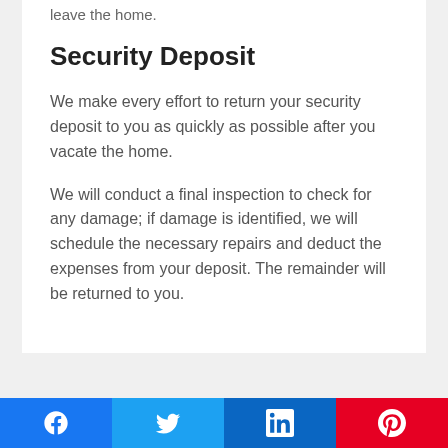leave the home.
Security Deposit
We make every effort to return your security deposit to you as quickly as possible after you vacate the home.
We will conduct a final inspection to check for any damage; if damage is identified, we will schedule the necessary repairs and deduct the expenses from your deposit. The remainder will be returned to you.
Social share buttons: Facebook, Twitter, LinkedIn, Pinterest